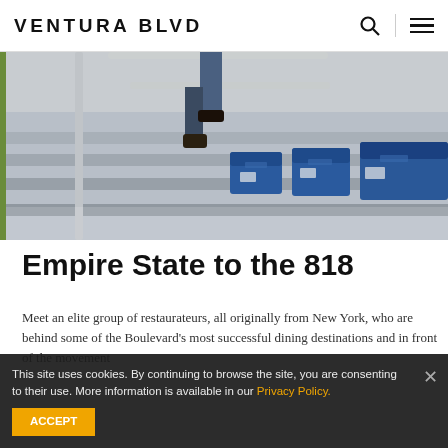VENTURA BLVD
[Figure (photo): Stadium seats — blue folding seats with metal railings and concrete steps, viewed from above. A person's legs visible at top.]
Empire State to the 818
Meet an elite group of restaurateurs, all originally from New York, who are behind some of the Boulevard's most successful dining destinations and in front of the movement
This site uses cookies. By continuing to browse the site, you are consenting to their use. More information is available in our Privacy Policy.